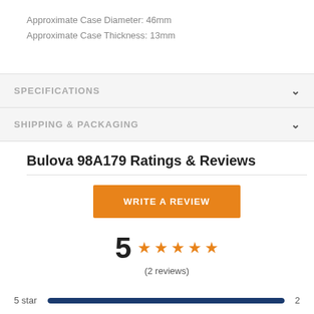Approximate Case Diameter: 46mm
Approximate Case Thickness: 13mm
SPECIFICATIONS
SHIPPING & PACKAGING
Bulova 98A179 Ratings & Reviews
WRITE A REVIEW
5 ★★★★★ (2 reviews)
5 star  2